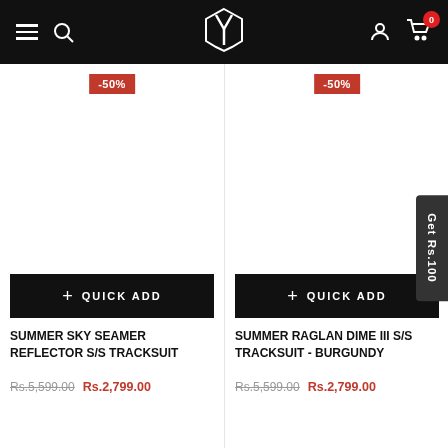Navigation bar with hamburger menu, search, logo, account, and cart icons
[Figure (screenshot): Product image placeholder for Summer Sky Seamer Reflector S/S Tracksuit with -50% badge]
[Figure (screenshot): Product image placeholder for Summer Raglan Dime III S/S Tracksuit - Burgundy with -50% badge]
SUMMER SKY SEAMER REFLECTOR S/S TRACKSUIT
SUMMER RAGLAN DIME III S/S TRACKSUIT - BURGUNDY
Rs.5,599.00 Rs.2,799.00
Rs.5,599.00 Rs.2,799.00